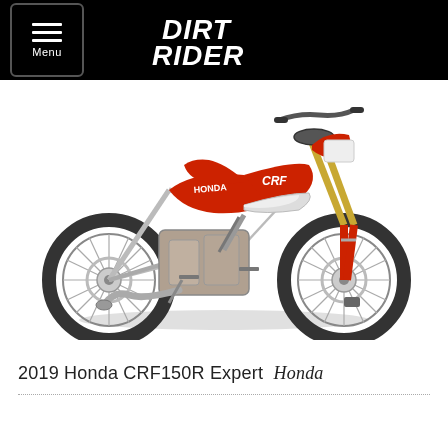DIRT RIDER
[Figure (photo): Side profile view of a 2019 Honda CRF150R Expert motocross dirt bike in red and white colorway on a white background]
2019 Honda CRF150R Expert  Honda